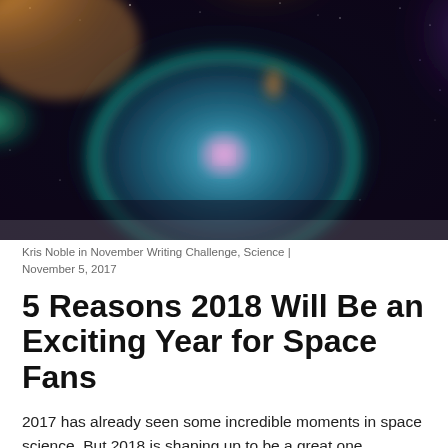[Figure (photo): Hubble Space Telescope image of a nebula (Bubble Nebula) showing vibrant blues, teals, oranges, and purples of a glowing spherical gas cloud in space against a dark starfield.]
Kris Noble in November Writing Challenge, Science | November 5, 2017
5 Reasons 2018 Will Be an Exciting Year for Space Fans
2017 has already seen some incredible moments in space science. But 2018 is shaping up to be a great one